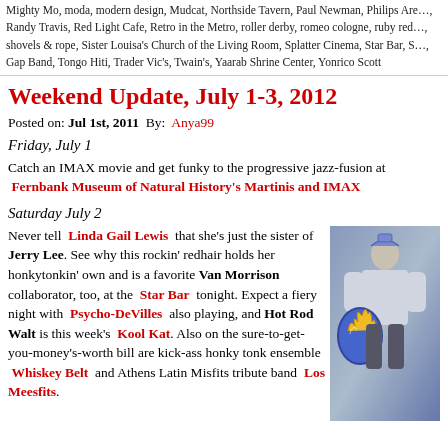Mighty Mo, moda, modern design, Mudcat, Northside Tavern, Paul Newman, Philips Are…, Randy Travis, Red Light Cafe, Retro in the Metro, roller derby, romeo cologne, ruby red…, shovels & rope, Sister Louisa's Church of the Living Room, Splatter Cinema, Star Bar, S…, Gap Band, Tongo Hiti, Trader Vic's, Twain's, Yaarab Shrine Center, Yonrico Scott
Weekend Update, July 1-3, 2012
Posted on: Jul 1st, 2011 By: Anya99
Friday, July 1
Catch an IMAX movie and get funky to the progressive jazz-fusion at Fernbank Museum of Natural History's Martinis and IMAX
Saturday July 2
Never tell Linda Gail Lewis that she's just the sister of Jerry Lee. See why this rockin' redhair holds her honkytonkin' own and is a favorite Van Morrison collaborator, too, at the Star Bar tonight. Expect a fiery night with Psycho-DeVilles also playing, and Hot Rod Walt is this week's Kool Kat. Also on the sure-to-get-you-money's-worth bill are kick-ass honky tonk ensemble Whiskey Belt and Athens Latin Misfits tribute band Los Meesfits.
[Figure (photo): A person in medieval knight costume holding a decorated shield with flame designs, photographed indoors.]